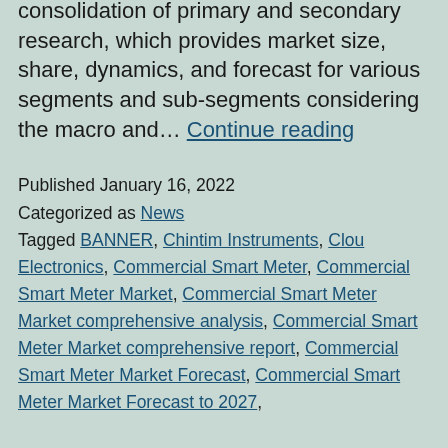consolidation of primary and secondary research, which provides market size, share, dynamics, and forecast for various segments and sub-segments considering the macro and… Continue reading
Published January 16, 2022
Categorized as News
Tagged BANNER, Chintim Instruments, Clou Electronics, Commercial Smart Meter, Commercial Smart Meter Market, Commercial Smart Meter Market comprehensive analysis, Commercial Smart Meter Market comprehensive report, Commercial Smart Meter Market Forecast, Commercial Smart Meter Market Forecast to 2027,